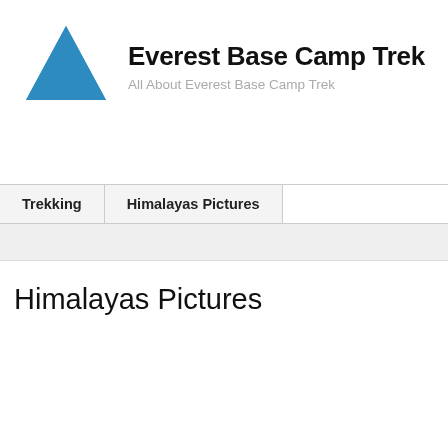[Figure (logo): Blue triangle/mountain logo for Everest Base Camp Trek website]
Everest Base Camp Trek
All About Everest Base Camp Trek
Trekking
Himalayas Pictures
Himalayas Pictures